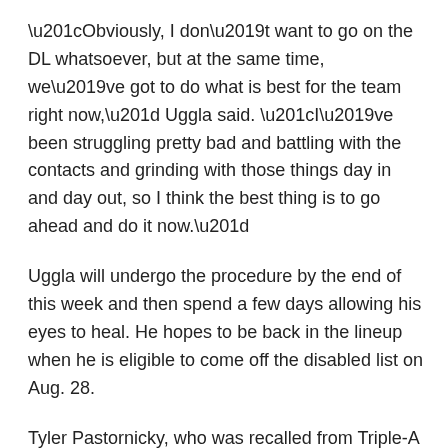“Obviously, I don’t want to go on the DL whatsoever, but at the same time, we’ve got to do what is best for the team right now,” Uggla said. “I’ve been struggling pretty bad and battling with the contacts and grinding with those things day in and day out, so I think the best thing is to go ahead and do it now.”
Uggla will undergo the procedure by the end of this week and then spend a few days allowing his eyes to heal. He hopes to be back in the lineup when he is eligible to come off the disabled list on Aug. 28.
Tyler Pastornicky, who was recalled from Triple-A Gwinnett on Tuesday, will serve as the starting second baseman in Uggla’s absence.